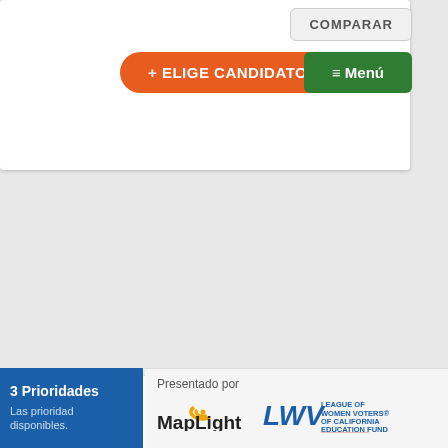[Figure (screenshot): Orange button with text '+ ELIGE CANDIDATO' and green button with '≡ Menú' and gray 'COMPARAR' button]
[Figure (screenshot): Candidate profile card for Isaac Galvan with gray circle placeholder saying 'No se proporcionó información']
Isaac Galvan
Demócrata
No se proporcionó información
3 Prioridades
Las prioridades disponibles.
Presentado por
[Figure (logo): MapLight logo]
[Figure (logo): League of Women Voters of California Education Fund logo]